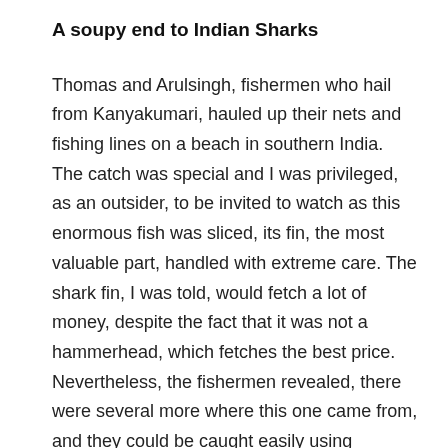A soupy end to Indian Sharks
Thomas and Arulsingh, fishermen who hail from Kanyakumari, hauled up their nets and fishing lines on a beach in southern India. The catch was special and I was privileged, as an outsider, to be invited to watch as this enormous fish was sliced, its fin, the most valuable part, handled with extreme care. The shark fin, I was told, would fetch a lot of money, despite the fact that it was not a hammerhead, which fetches the best price. Nevertheless, the fishermen revealed, there were several more where this one came from, and they could be caught easily using specialized hooks and lines. Altogether